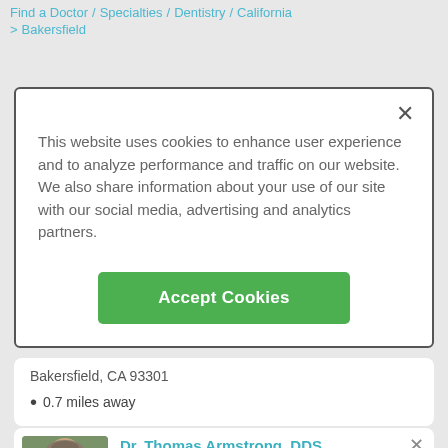Find a Doctor / Specialties / Dentistry / California > Bakersfield
This website uses cookies to enhance user experience and to analyze performance and traffic on our website. We also share information about your use of our site with our social media, advertising and analytics partners.
Accept Cookies
Bakersfield, CA 93301
0.7 miles away
[Figure (photo): Headshot photo of Dr. Thomas Armstrong, DDS — a bald middle-aged man smiling]
Dr. Thomas Armstrong, DDS
Age 70 | Dentistry